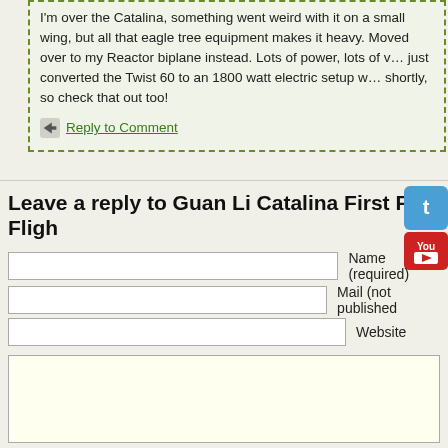I'm over the Catalina, something went weird with it on a small wing, but all that eagle tree equipment makes it heavy. Moved over to my Reactor biplane instead. Lots of power, lots of v... I just converted the Twist 60 to an 1800 watt electric setup w... shortly, so check that out too!
Reply to Comment
Leave a reply to Guan Li Catalina First FPV Flight
Name (required)
Mail (not published)
Website